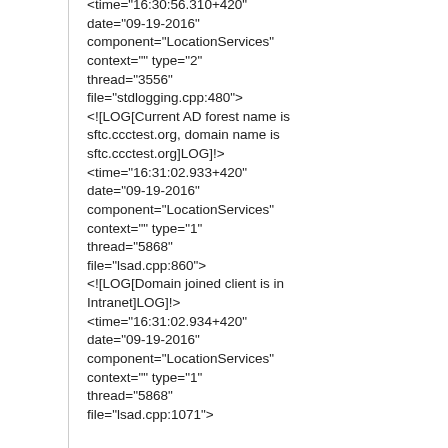<time="16:30:56.310+420" date="09-19-2016" component="LocationServices" context="" type="2" thread="3556" file="stdlogging.cpp:480"> <![LOG[Current AD forest name is sftc.ccctest.org, domain name is sftc.ccctest.org]LOG]!> <time="16:31:02.933+420" date="09-19-2016" component="LocationServices" context="" type="1" thread="5868" file="lsad.cpp:860"> <![LOG[Domain joined client is in Intranet]LOG]!> <time="16:31:02.934+420" date="09-19-2016" component="LocationServices" context="" type="1" thread="5868" file="lsad.cpp:1071">